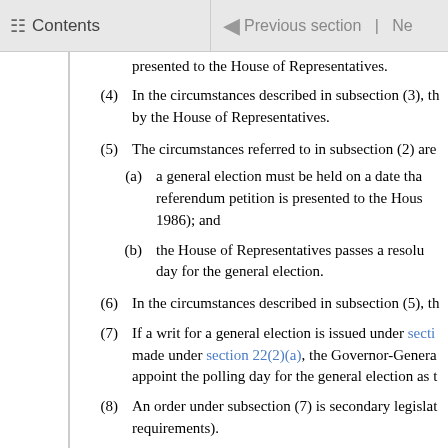Contents | Previous section |
presented to the House of Representatives.
(4)  In the circumstances described in subsection (3), the... by the House of Representatives.
(5)  The circumstances referred to in subsection (2) are
(a)  a general election must be held on a date tha... referendum petition is presented to the House... 1986); and
(b)  the House of Representatives passes a resolu... day for the general election.
(6)  In the circumstances described in subsection (5), th
(7)  If a writ for a general election is issued under section... made under section 22(2)(a), the Governor-General... appoint the polling day for the general election as t
(8)  An order under subsection (7) is secondary legislat... requirements).
Legislation Act 2019 requirements for secondary legislatio
Publication   PCO must publish it on the legislatio